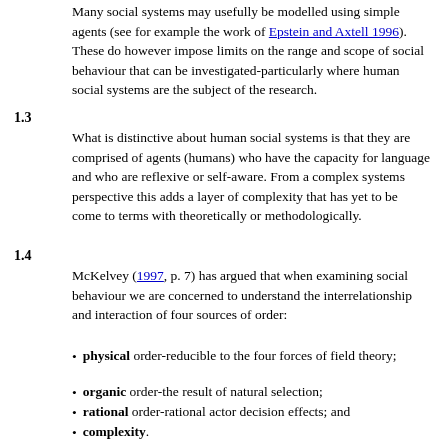Many social systems may usefully be modelled using simple agents (see for example the work of Epstein and Axtell 1996). These do however impose limits on the range and scope of social behaviour that can be investigated-particularly where human social systems are the subject of the research.
1.3
What is distinctive about human social systems is that they are comprised of agents (humans) who have the capacity for language and who are reflexive or self-aware. From a complex systems perspective this adds a layer of complexity that has yet to be come to terms with theoretically or methodologically.
1.4
McKelvey (1997, p. 7) has argued that when examining social behaviour we are concerned to understand the interrelationship and interaction of four sources of order:
physical order-reducible to the four forces of field theory;
organic order-the result of natural selection;
rational order-rational actor decision effects; and
complexity.